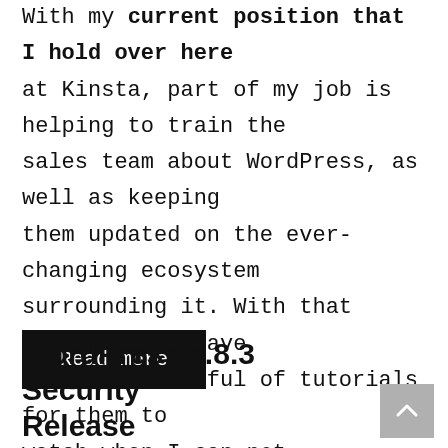With my current position that I hold over here at Kinsta, part of my job is helping to train the sales team about WordPress, as well as keeping them updated on the ever-changing ecosystem surrounding it. With that being said I have created a handful of tutorials for them to watch when I can not ...
Read more
WordPress 5.8.3 Security Release